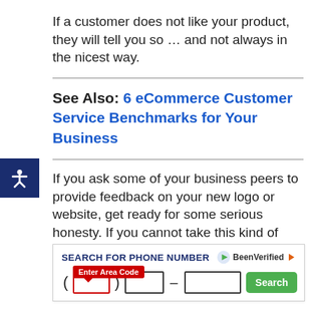If a customer does not like your product, they will tell you so … and not always in the nicest way.
See Also: 6 eCommerce Customer Service Benchmarks for Your Business
If you ask some of your business peers to provide feedback on your new logo or website, get ready for some serious honesty. If you cannot take this kind of heat now, get ready to be roasted when you start your
[Figure (screenshot): BeenVerified advertisement: Search for Phone Number with area code input fields and Search button]